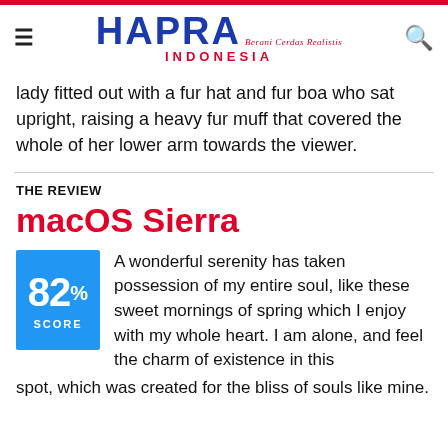HAPRA INDONESIA
lady fitted out with a fur hat and fur boa who sat upright, raising a heavy fur muff that covered the whole of her lower arm towards the viewer.
THE REVIEW
macOS Sierra
82% SCORE — A wonderful serenity has taken possession of my entire soul, like these sweet mornings of spring which I enjoy with my whole heart. I am alone, and feel the charm of existence in this spot, which was created for the bliss of souls like mine.